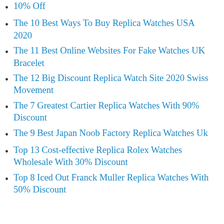10% Off
The 10 Best Ways To Buy Replica Watches USA 2020
The 11 Best Online Websites For Fake Watches UK Bracelet
The 12 Big Discount Replica Watch Site 2020 Swiss Movement
The 7 Greatest Cartier Replica Watches With 90% Discount
The 9 Best Japan Noob Factory Replica Watches Uk
Top 13 Cost-effective Replica Rolex Watches Wholesale With 30% Discount
Top 8 Iced Out Franck Muller Replica Watches With 50% Discount